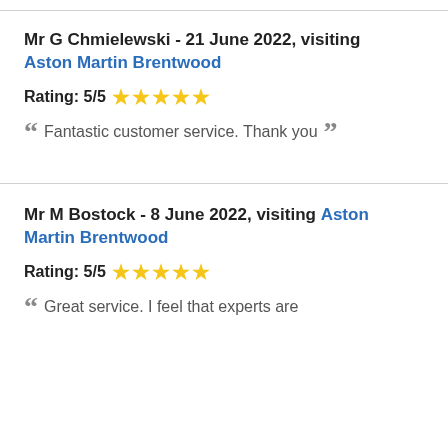Mr G Chmielewski - 21 June 2022, visiting Aston Martin Brentwood
Rating: 5/5 ★★★★★
Fantastic customer service. Thank you
Mr M Bostock - 8 June 2022, visiting Aston Martin Brentwood
Rating: 5/5 ★★★★★
Great service. I feel that experts are